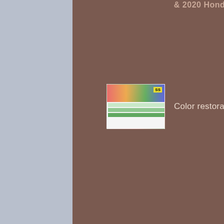2020 Honda Accord
[Figure (screenshot): Teal circular menu button with three horizontal white lines (hamburger icon)]
[Figure (photo): Thumbnail image of color restoration product/document]
Color restoration
[Figure (screenshot): Grey circular back-to-top button with upward chevron arrow]
[Figure (photo): Thumbnail image of a truck bed with sprayable bedliner]
Benefits of sprayable bedliner
[Figure (photo): Thumbnail image for a free photoshoot giveaway promotional image]
Free photoshoot give away!
[Figure (screenshot): Teal circular more/options button with three white dots]